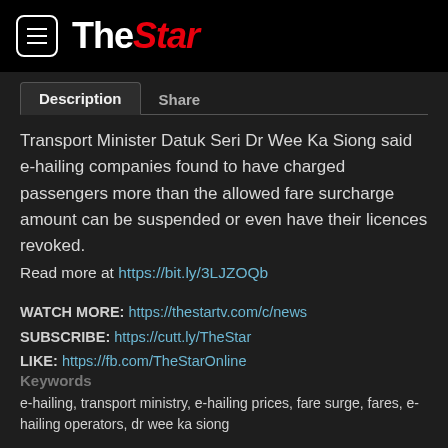The Star
Description | Share
Transport Minister Datuk Seri Dr Wee Ka Siong said e-hailing companies found to have charged passengers more than the allowed fare surcharge amount can be suspended or even have their licences revoked.
Read more at https://bit.ly/3LJZOQb
WATCH MORE: https://thestartv.com/c/news
SUBSCRIBE: https://cutt.ly/TheStar
LIKE: https://fb.com/TheStarOnline
Keywords
e-hailing, transport ministry, e-hailing prices, fare surge, fares, e-hailing operators, dr wee ka siong